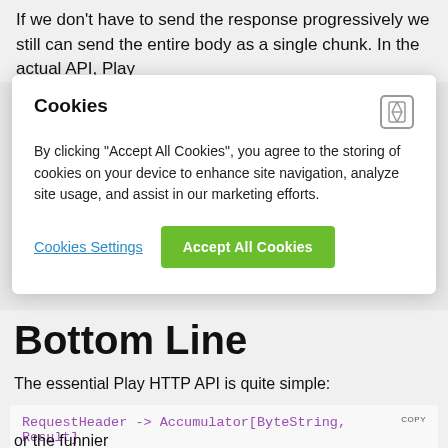If we don't have to send the response progressively we still can send the entire body as a single chunk. In the actual API, Play
[Figure (screenshot): Cookie consent modal overlay with title 'Cookies', close button, body text about accepting cookies, 'Cookies Settings' link and 'Accept All Cookies' green button]
Bottom Line
The essential Play HTTP API is quite simple:
or the funnier